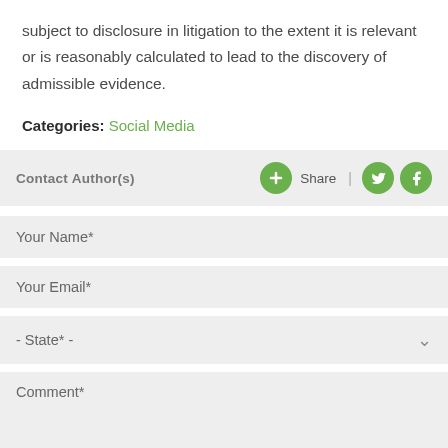subject to disclosure in litigation to the extent it is relevant or is reasonably calculated to lead to the discovery of admissible evidence.
Categories: Social Media
[Figure (screenshot): Contact Author(s) bar with green plus/share button and social media icons (Twitter, Facebook)]
[Figure (screenshot): Contact form with fields: Your Name*, Your Email*, - State* - dropdown, Comment*]